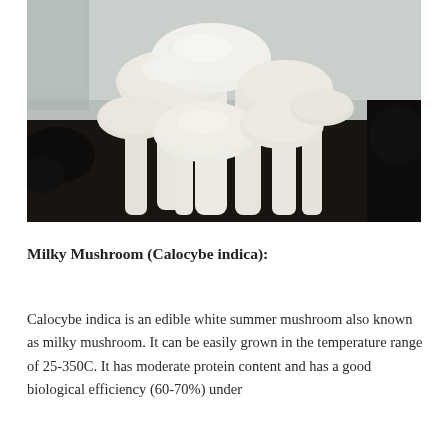[Figure (photo): A cluster of large white milky mushrooms (Calocybe indica) growing outdoors, with pale cream-colored caps and thick white stems, set against a dark mulch background with a wall visible behind them.]
Milky Mushroom (Calocybe indica):
Calocybe indica is an edible white summer mushroom also known as milky mushroom. It can be easily grown in the temperature range of 25-350C. It has moderate protein content and has a good biological efficiency (60-70%) under